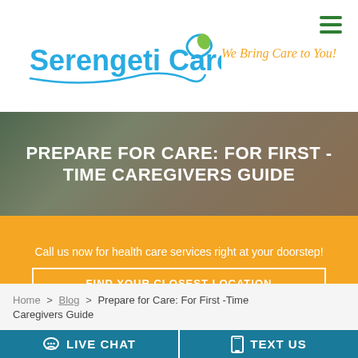[Figure (logo): Serengeti Care logo with swirl and leaf icon and tagline 'We Bring Care to You!']
PREPARE FOR CARE: FOR FIRST - TIME CAREGIVERS GUIDE
Call us now for health care services right at your doorstep!
FIND YOUR CLOSEST LOCATION
Home > Blog > Prepare for Care: For First -Time Caregivers Guide
LIVE CHAT   TEXT US